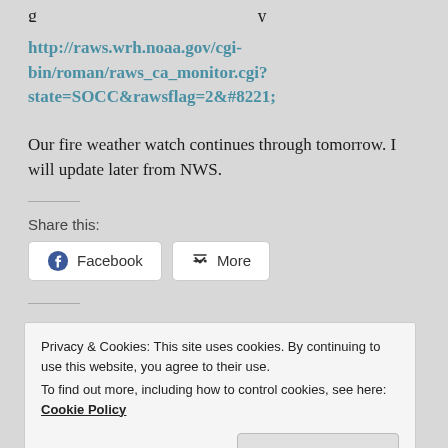g … y
http://raws.wrh.noaa.gov/cgi-bin/roman/raws_ca_monitor.cgi?state=SOCC&rawsflag=2&#8221;
Our fire weather watch continues through tomorrow. I will update later from NWS.
Share this:
Facebook  More
Privacy & Cookies: This site uses cookies. By continuing to use this website, you agree to their use.
To find out more, including how to control cookies, see here: Cookie Policy
Close and accept
Posted on September 10, 2011 by historicdata ...